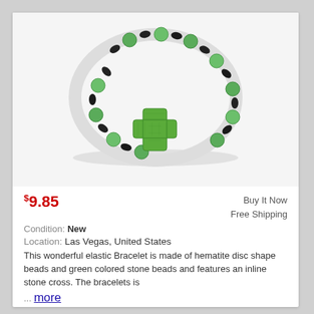[Figure (photo): A beaded elastic bracelet with alternating green stone beads and black hematite disc beads, featuring a green stone cross pendant in the center, photographed on a white background.]
$9.85
Buy It Now
Free Shipping
Condition: New
Location: Las Vegas, United States
This wonderful elastic Bracelet is made of hematite disc shape beads and green colored stone beads and features an inline stone cross. The bracelets is
... more